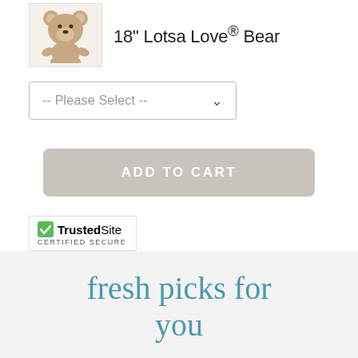[Figure (photo): Stuffed teddy bear product image thumbnail for 18 inch Lotsa Love Bear]
18" Lotsa Love® Bear
-- Please Select --
ADD TO CART
[Figure (logo): TrustedSite Certified Secure badge]
fresh picks for you
Receive special offers when you signup for our
[Figure (logo): TrustedSite Certified Secure badge (bottom right)]